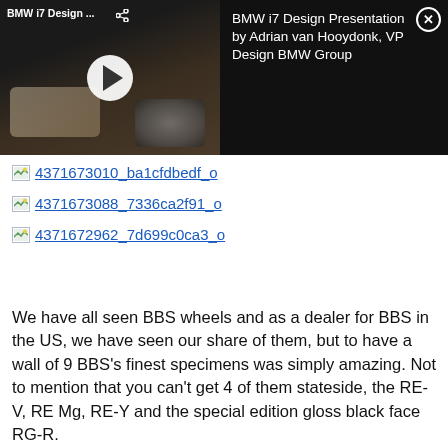[Figure (screenshot): BMW i7 Design Presentation video thumbnail showing car interior with play button. Title reads 'BMW i7 Design Presentation by Adrian van Hooydonk, VP Design BMW Group']
4371673010_ba1cfdbedf_o
4371673088_7336ca2f91_o
4371672962_7d699c0ca3_o
We have all seen BBS wheels and as a dealer for BBS in the US, we have seen our share of them, but to have a wall of 9 BBS's finest specimens was simply amazing. Not to mention that you can't get 4 of them stateside, the RE-V, RE Mg, RE-Y and the special edition gloss black face RG-R.